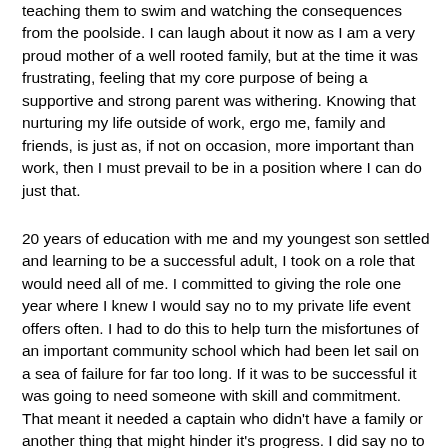teaching them to swim and watching the consequences from the poolside. I can laugh about it now as I am a very proud mother of a well rooted family, but at the time it was frustrating, feeling that my core purpose of being a supportive and strong parent was withering. Knowing that nurturing my life outside of work, ergo me, family and friends, is just as, if not on occasion, more important than work, then I must prevail to be in a position where I can do just that.
20 years of education with me and my youngest son settled and learning to be a successful adult, I took on a role that would need all of me. I committed to giving the role one year where I knew I would say no to my private life event offers often. I had to do this to help turn the misfortunes of an important community school which had been let sail on a sea of failure for far too long. If it was to be successful it was going to need someone with skill and commitment. That meant it needed a captain who didn't have a family or another thing that might hinder it's progress. I did say no to all invitations practically but promised myself 3 things if the school significantly improved: